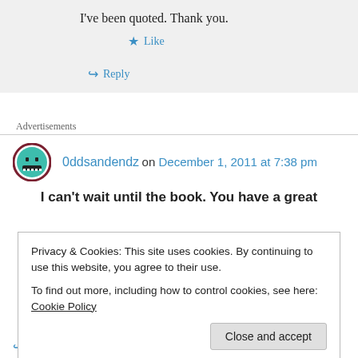I've been quoted. Thank you.
★ Like
↪ Reply
Advertisements
0ddsandendz on December 1, 2011 at 7:38 pm
I can't wait until the book. You have a great
Privacy & Cookies: This site uses cookies. By continuing to use this website, you agree to their use.
To find out more, including how to control cookies, see here: Cookie Policy
Close and accept
↪ Reply